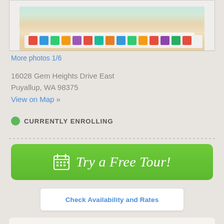[Figure (photo): Photo of colorful alphabet letters on a white tray, cropped at top]
More photos 1/6
16028 Gem Heights Drive East
Puyallup, WA 98375
View on Map »
CURRENTLY ENROLLING
Try a Free Tour!
Check Availability and Rates
MORE INFORMATION
Inspection status
https://aasa.dshs.wa...